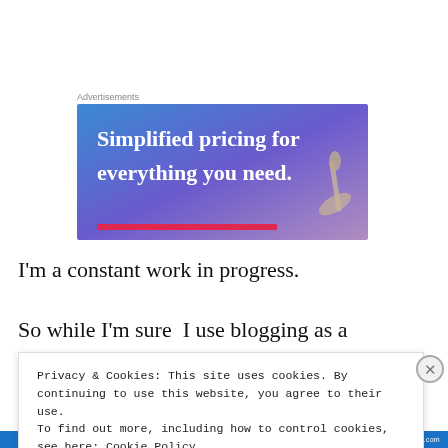Advertisements
[Figure (illustration): Advertisement banner with gradient blue-purple background showing text 'Simplified pricing for everything you need.' in white serif font with an image of a dental tool on the right side.]
I'm a constant work in progress.
So while I'm sure  I use blogging as a distraction at times, I don't know that that's all that bad. Without a
Privacy & Cookies: This site uses cookies. By continuing to use this website, you agree to their use.
To find out more, including how to control cookies, see here: Cookie Policy
Close and accept
wordpress.com